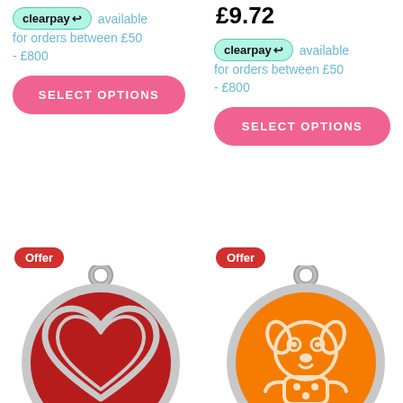£9.72
clearpay available
for orders between £50 - £800
clearpay available
for orders between £50 - £800
SELECT OPTIONS
SELECT OPTIONS
Offer
[Figure (photo): Round red enamel pet tag with a silver border, featuring a heart outline design in the center]
Offer
[Figure (photo): Round orange enamel pet tag with a silver border, featuring a cartoon dog design in the center]